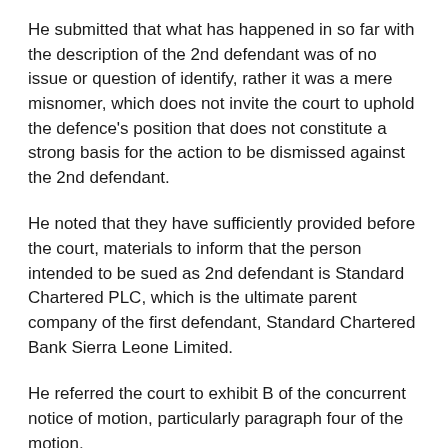He submitted that what has happened in so far with the description of the 2nd defendant was of no issue or question of identify, rather it was a mere misnomer, which does not invite the court to uphold the defence's position that does not constitute a  strong basis for the action to be dismissed against the 2nd defendant.
He noted that they have sufficiently provided before the court, materials to inform that the person intended to be sued as 2nd defendant is Standard Chartered PLC, which is the ultimate parent company of the first defendant, Standard Chartered Bank Sierra Leone Limited.
He referred the court to exhibit B of the concurrent notice of motion, particularly paragraph four of the motion.